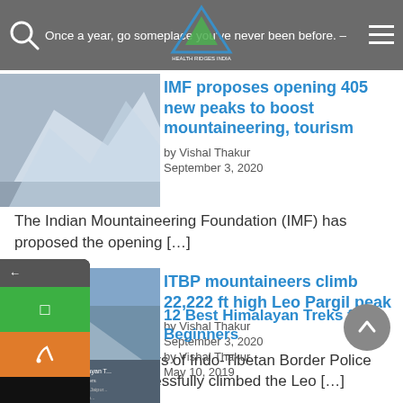Once a year, go someplace you've never been before. –
[Figure (logo): Mountain/trekking website logo with mountain outline in blue and green]
[Figure (photo): Photo of snowy mountain/climbing scene]
IMF proposes opening 405 new peaks to boost mountaineering, tourism
by Vishal Thakur
September 3, 2020
The Indian Mountaineering Foundation (IMF) has proposed the opening […]
[Figure (photo): Photo of mountaineers at summit with Indian flag]
ITBP mountaineers climb 22,222 ft high Leo Pargil peak
by Vishal Thakur
September 3, 2020
nntaineers of Indo-Tibetan Border Police (ITBP) cessfully climbed the Leo […]
[Figure (photo): Photo related to 12 Best Himalayan Treks for Beginners]
12 Best Himalayan Treks for Beginners
by Vishal Thakur
May 10, 2019